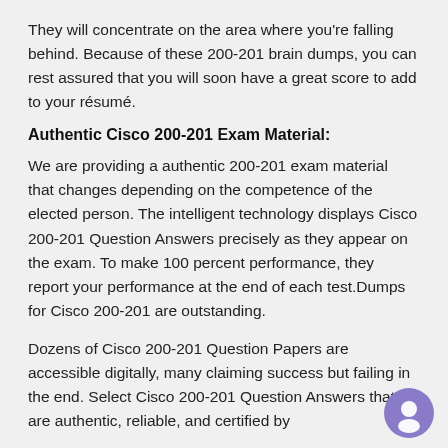They will concentrate on the area where you're falling behind. Because of these 200-201 brain dumps, you can rest assured that you will soon have a great score to add to your résumé.
Authentic Cisco 200-201 Exam Material:
We are providing a authentic 200-201 exam material that changes depending on the competence of the elected person. The intelligent technology displays Cisco 200-201 Question Answers precisely as they appear on the exam. To make 100 percent performance, they report your performance at the end of each test.Dumps for Cisco 200-201 are outstanding.
Dozens of Cisco 200-201 Question Papers are accessible digitally, many claiming success but failing in the end. Select Cisco 200-201 Question Answers that are authentic, reliable, and certified by